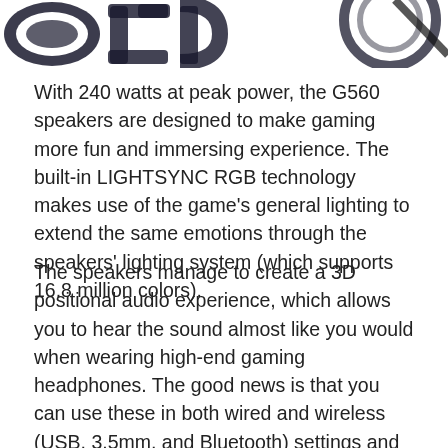[Figure (logo): Partial logo/image at the top of the page showing stylized text, partially cropped, with a circular element on the right]
With 240 watts at peak power, the G560 speakers are designed to make gaming more fun and immersing experience. The built-in LIGHTSYNC RGB technology makes use of the game's general lighting to extend the same emotions through the speakers' lighting system (which supports 16.8 million colors).
The speakers manage to create a 3D positional audio experience, which allows you to hear the sound almost like you would when wearing high-end gaming headphones. The good news is that you can use these in both wired and wireless (USB, 3.5mm, and Bluetooth) settings and they work with a wide range of devices.